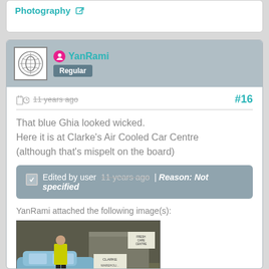Photography
YanRami
Regular
11 years ago  #16
That blue Ghia looked wicked.
Here it is at Clarke's Air Cooled Car Centre
(although that's mispelt on the board)
Edited by user  11 years ago  | Reason: Not specified
YanRami attached the following image(s):
[Figure (photo): Photo of a person in a high-visibility yellow vest standing next to a light blue car at Clarke's Air Cooled Car Centre warehouse, with signage visible.]